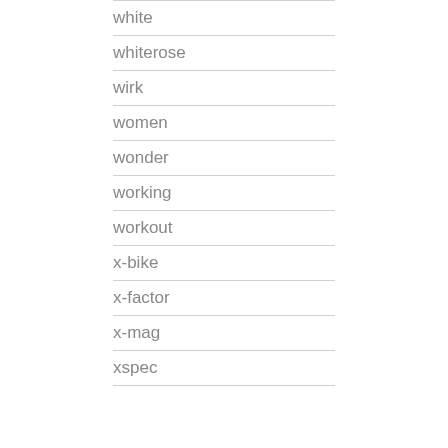white
whiterose
wirk
women
wonder
working
workout
x-bike
x-factor
x-mag
xspec